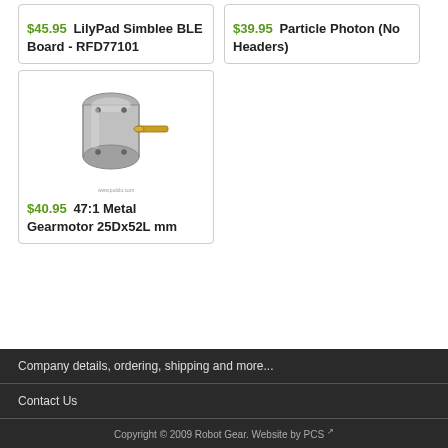$45.95 LilyPad Simblee BLE Board - RFD77101
$39.95 Particle Photon (No Headers)
[Figure (photo): Photo of a silver 47:1 metal gearmotor cylinder with shaft, 25Dx52L mm size]
$40.95 47:1 Metal Gearmotor 25Dx52L mm
Company details, ordering, shipping and more...
Contact Us
Copyright © 2009 Robot Gear. Website by PCS